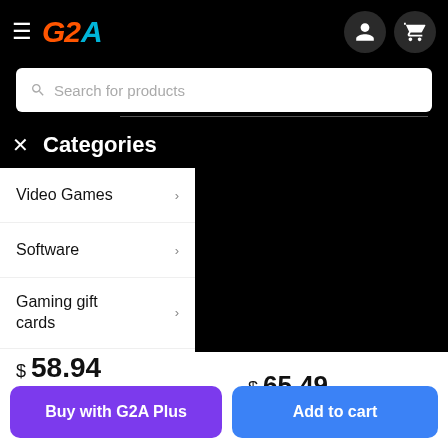G2A navigation bar with hamburger menu, G2A logo, user icon and cart icon
Search for products
× Categories
Video Games >
Software >
Gaming gift cards >
Top-up cards >
$ 58.94
$ 65.49 (strikethrough)
-10%
$ 65.49
Buy with G2A Plus
Add to cart